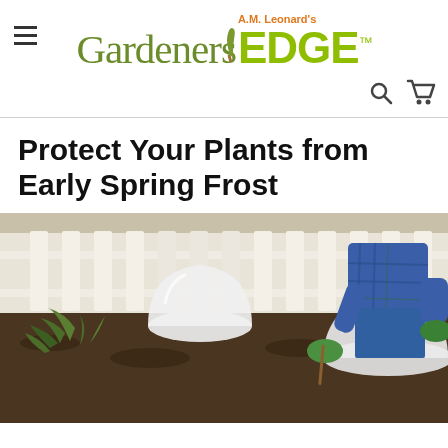Gardeners Edge - A.M. Leonard's
Protect Your Plants from Early Spring Frost
[Figure (photo): A person wearing plaid shirt and green gloves placing white frost protection cloches over plants in a garden bed with a white picket fence in the background.]